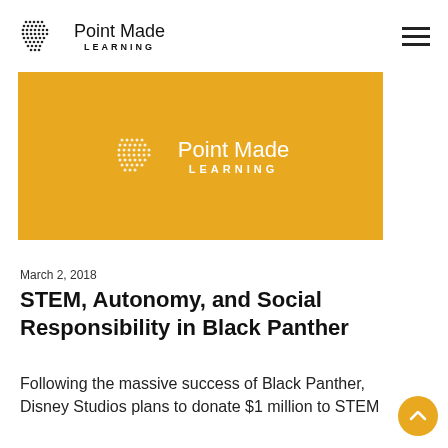Point Made LEARNING
[Figure (logo): Point Made Learning logo banner on gold/yellow background]
March 2, 2018
STEM, Autonomy, and Social Responsibility in Black Panther
Following the massive success of Black Panther, Disney Studios plans to donate $1 million to STEM